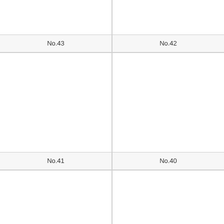[Figure (other): Empty card image area, top-left, partially cropped]
No.43
[Figure (other): Empty card image area, top-right, partially cropped]
No.42
[Figure (other): Empty card image area, middle-left]
No.41
[Figure (other): Empty card image area, middle-right]
No.40
[Figure (other): Empty card image area, bottom-left, partially cropped]
[Figure (other): Empty card image area, bottom-right, partially cropped]